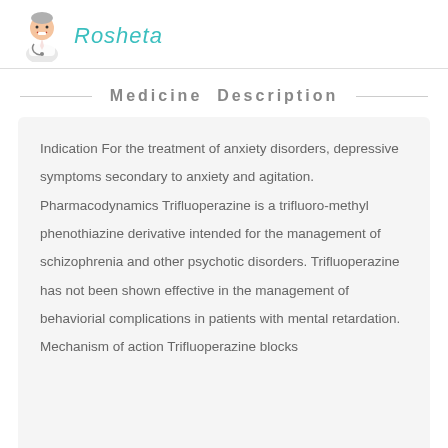Rosheta
Medicine Description
Indication For the treatment of anxiety disorders, depressive symptoms secondary to anxiety and agitation. Pharmacodynamics Trifluoperazine is a trifluoro-methyl phenothiazine derivative intended for the management of schizophrenia and other psychotic disorders. Trifluoperazine has not been shown effective in the management of behaviorial complications in patients with mental retardation. Mechanism of action Trifluoperazine blocks